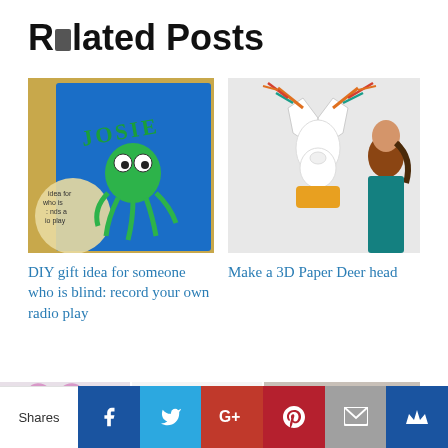Related Posts
[Figure (photo): Blue felt square with green yarn octopus craft named JOSIE, googly eyes, on gold background, with circular text overlay]
DIY gift idea for someone who is blind: record your own radio play
[Figure (photo): White 3D paper deer head mounted on wall, girl with dark ponytail looking at it, yellow border]
Make a 3D Paper Deer head
[Figure (photo): Three photos side by side: pink flower, purple grape hyacinth flower, person looking in mirror]
Shares